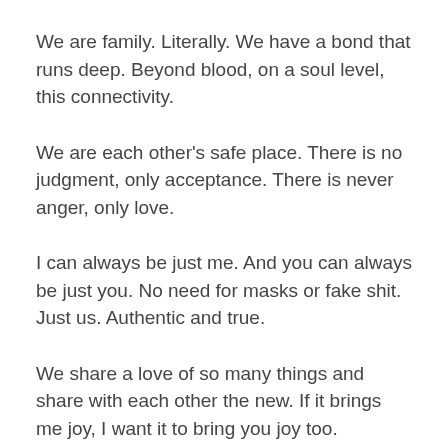We are family. Literally. We have a bond that runs deep. Beyond blood, on a soul level, this connectivity.
We are each other's safe place. There is no judgment, only acceptance. There is never anger, only love.
I can always be just me. And you can always be just you. No need for masks or fake shit. Just us. Authentic and true.
We share a love of so many things and share with each other the new. If it brings me joy, I want it to bring you joy too.
Oceans apart but that doesn't matter. We make it a